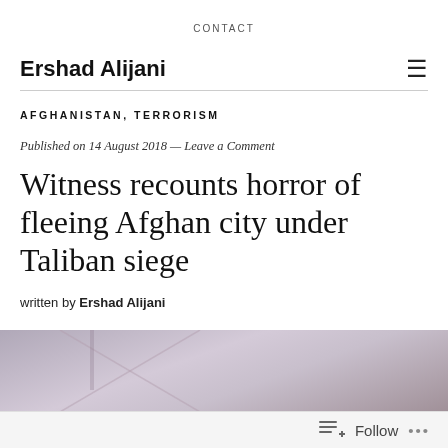CONTACT
Ershad Alijani
AFGHANISTAN, TERRORISM
Published on 14 August 2018 — Leave a Comment
Witness recounts horror of fleeing Afghan city under Taliban siege
written by Ershad Alijani
[Figure (photo): Partial photo showing a misty/foggy scene with crossed lines visible, likely an outdoor scene related to Afghanistan]
Follow ...